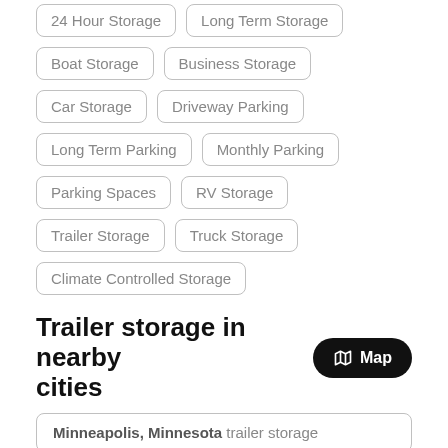24 Hour Storage
Long Term Storage
Boat Storage
Business Storage
Car Storage
Driveway Parking
Long Term Parking
Monthly Parking
Parking Spaces
RV Storage
Trailer Storage
Truck Storage
Climate Controlled Storage
Trailer storage in nearby cities
Map
Minneapolis, Minnesota trailer storage